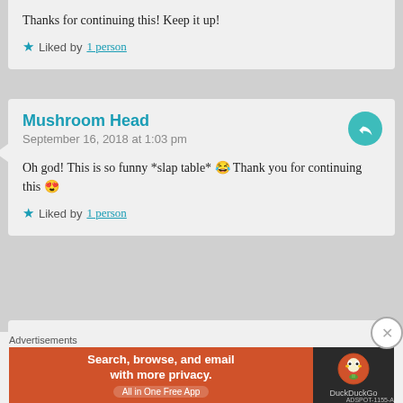Thanks for continuing this! Keep it up!
★ Liked by 1 person
Mushroom Head
September 16, 2018 at 1:03 pm
Oh god! This is so funny *slap table* 😂 Thank you for continuing this 😍
★ Liked by 1 person
Kondgu
Advertisements
[Figure (screenshot): DuckDuckGo advertisement banner: Search, browse, and email with more privacy. All in One Free App.]